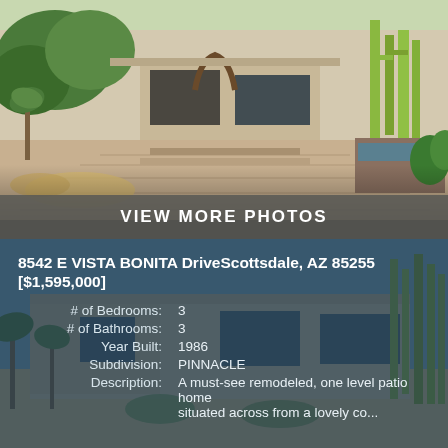[Figure (photo): Exterior courtyard of a modern desert home with paved walkway, stone steps, tall cactus, palm trees and lush landscaping]
VIEW MORE PHOTOS
8542 E VISTA BONITA DriveScottsdale, AZ 85255 [$1,595,000]
| Label | Value |
| --- | --- |
| # of Bedrooms: | 3 |
| # of Bathrooms: | 3 |
| Year Built: | 1986 |
| Subdivision: | PINNACLE |
| Description: | A must-see remodeled, one level patio home situated across from a lovely co... |